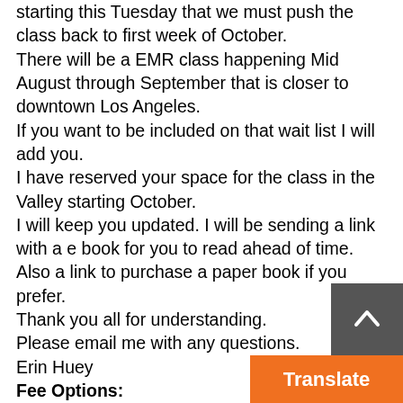starting this Tuesday that we must push the class back to first week of October.
There will be a EMR class happening Mid August through September that is closer to downtown Los Angeles.
If you want to be included on that wait list I will add you.
I have reserved your space for the class in the Valley starting October.
I will keep you updated. I will be sending a link with a e book for you to read ahead of time.
Also a link to purchase a paper book if you prefer.
Thank you all for understanding.
Please email me with any questions.
Erin Huey
Fee Options:
(cancellation policy of 5 days prior class to receive a full refund)
$ (includes textbook and medical ki...
$ (free eBook) – For those whom d...